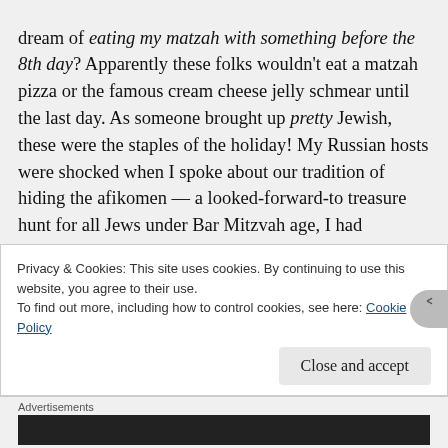dream of eating my matzah with something before the 8th day? Apparently these folks wouldn't eat a matzah pizza or the famous cream cheese jelly schmear until the last day. As someone brought up pretty Jewish, these were the staples of the holiday! My Russian hosts were shocked when I spoke about our tradition of hiding the afikomen — a looked-forward-to treasure hunt for all Jews under Bar Mitzvah age, I had supposed incorrectly. To each their own, but I was so surprised to learn my own was so different than their own. There are so many ways to be Jewish, and our ways were very, very different. It was possibly one of the more uncomfortable evenings of my life, but I'm still glad I forced myself to seek it out and attend and have some sort of
Privacy & Cookies: This site uses cookies. By continuing to use this website, you agree to their use.
To find out more, including how to control cookies, see here: Cookie Policy
Close and accept
Advertisements